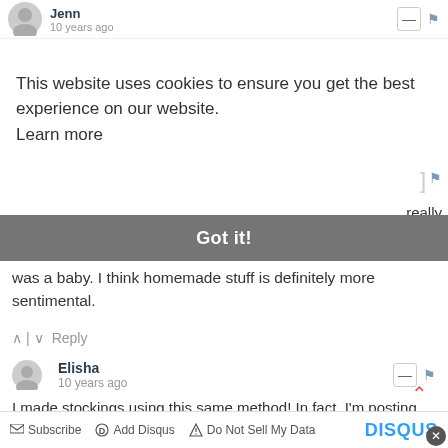Jenn • 10 years ago
e
This website uses cookies to ensure you get the best experience on our website. Learn more
Got it!
really when I was a baby. I think homemade stuff is definitely more sentimental.
^ | v Reply
Elisha • 10 years ago
I made stockings using this same method! In fact, I'm posting mine today. (Not posted yet though).
^ | v Reply
Subscribe  Add Disqus  Do Not Sell My Data  DISQUS